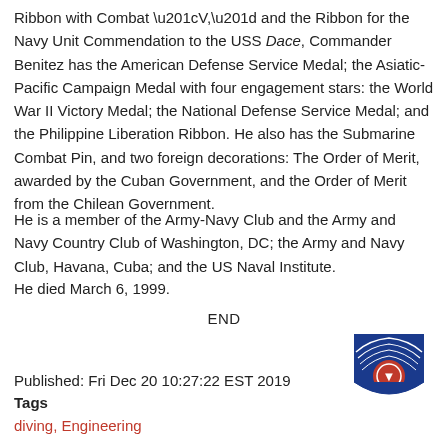Ribbon with Combat “V,” and the Ribbon for the Navy Unit Commendation to the USS Dace, Commander Benitez has the American Defense Service Medal; the Asiatic-Pacific Campaign Medal with four engagement stars: the World War II Victory Medal; the National Defense Service Medal; and the Philippine Liberation Ribbon. He also has the Submarine Combat Pin, and two foreign decorations: The Order of Merit, awarded by the Cuban Government, and the Order of Merit from the Chilean Government.
He is a member of the Army-Navy Club and the Army and Navy Country Club of Washington, DC; the Army and Navy Club, Havana, Cuba; and the US Naval Institute.
He died March 6, 1999.
END
[Figure (logo): Navy or military organization logo: blue eagle shield emblem with red circular center.]
Published: Fri Dec 20 10:27:22 EST 2019
Tags
diving, Engineering